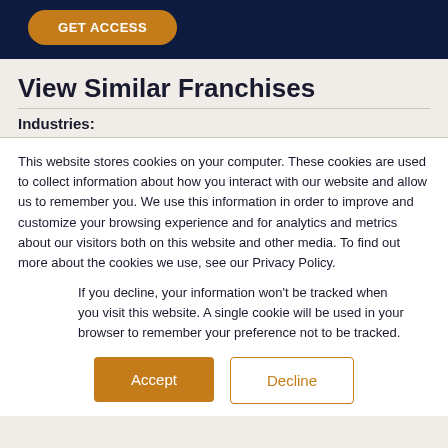[Figure (other): Dark navy banner with an orange rounded 'GET ACCESS' button]
View Similar Franchises
Industries:
This website stores cookies on your computer. These cookies are used to collect information about how you interact with our website and allow us to remember you. We use this information in order to improve and customize your browsing experience and for analytics and metrics about our visitors both on this website and other media. To find out more about the cookies we use, see our Privacy Policy.
If you decline, your information won't be tracked when you visit this website. A single cookie will be used in your browser to remember your preference not to be tracked.
Accept
Decline